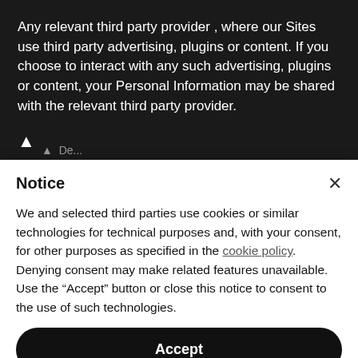Any relevant third party provider , where our Sites use third party advertising, plugins or content. If you choose to interact with any such advertising, plugins or content, your Personal Information may be shared with the relevant third party provider.
Notice
We and selected third parties use cookies or similar technologies for technical purposes and, with your consent, for other purposes as specified in the cookie policy. Denying consent may make related features unavailable.
Use the “Accept” button or close this notice to consent to the use of such technologies.
Accept
Learn more and customize